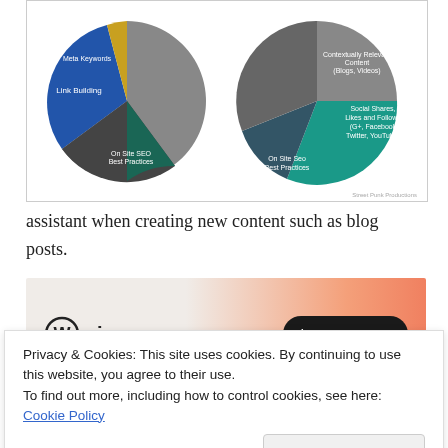[Figure (pie-chart): Two pie charts showing SEO factors. Left pie: Link Building (large gray), Meta Keywords (blue), On Site SEO Best Practices (dark gray). Right pie: Contextually Relevant Content (Blogs, Videos) (gray), Social Shares, Likes and Follows (G+, Facebook, Twitter, YouTube) (teal), On Site Seo Best Practices (dark teal). Watermark: Street Punk Productions.]
assistant when creating new content such as blog posts.
[Figure (infographic): WordPress VIP advertisement banner with gradient orange background, WordPress logo, VIP text, and 'Learn more →' button.]
REPORT THIS AD
The search engines themselves have evolved over
Privacy & Cookies: This site uses cookies. By continuing to use this website, you agree to their use.
To find out more, including how to control cookies, see here: Cookie Policy
Close and accept
"best practices".